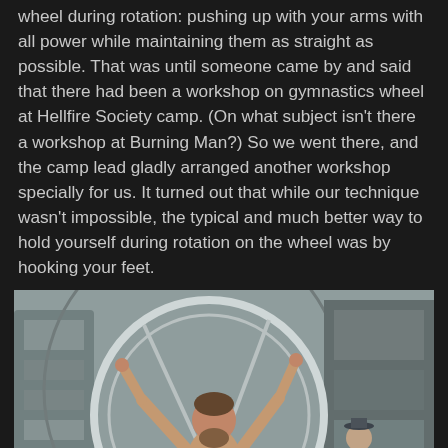wheel during rotation: pushing up with your arms with all power while maintaining them as straight as possible. That was until someone came by and said that there had been a workshop on gymnastics wheel at Hellfire Society camp. (On what subject isn't there a workshop at Burning Man?) So we went there, and the camp lead gladly arranged another workshop specially for us. It turned out that while our technique wasn't impossible, the typical and much better way to hold yourself during rotation on the wheel was by hooking your feet.
[Figure (photo): A shirtless bearded man performing gymnastics on a large circular wheel/ring apparatus outdoors at what appears to be Burning Man festival. He is holding the top of the ring with his arms raised and legs spread. Another person in a hat stands in the background. Industrial/artistic structures are visible behind them.]